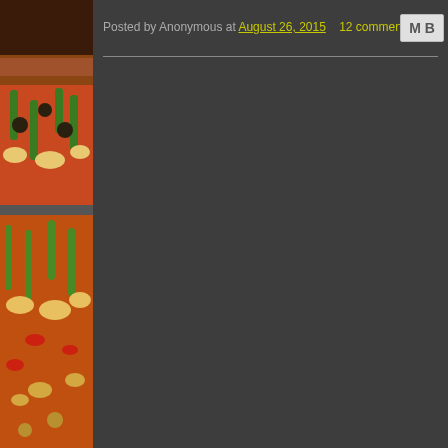[Figure (photo): Food photo sidebar showing pizza or similar dish with green peppers, red peppers, and other toppings, displayed vertically along the left edge of the page]
Posted by Anonymous at August 26, 2015   12 comments:
Wednesday, August 19, 2015
A Name to Forget